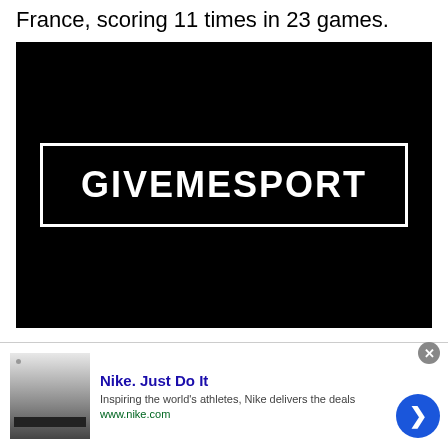France, scoring 11 times in 23 games.
[Figure (logo): GiveMeSport logo — white text on black background inside a white rectangular border]
We can't see Messi becoming a scout in the
[Figure (infographic): Advertisement banner: Nike. Just Do It — Inspiring the world's athletes, Nike delivers the deals — www.nike.com — with thumbnail image and blue arrow button]